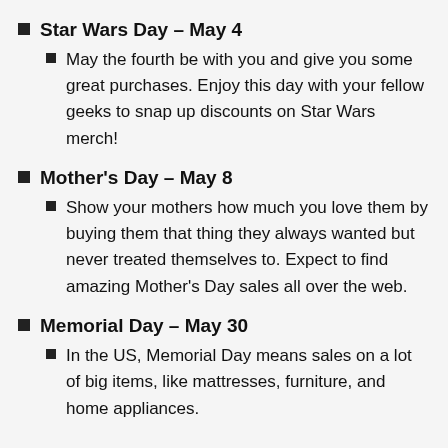Star Wars Day – May 4
May the fourth be with you and give you some great purchases. Enjoy this day with your fellow geeks to snap up discounts on Star Wars merch!
Mother's Day – May 8
Show your mothers how much you love them by buying them that thing they always wanted but never treated themselves to. Expect to find amazing Mother's Day sales all over the web.
Memorial Day – May 30
In the US, Memorial Day means sales on a lot of big items, like mattresses, furniture, and home appliances.